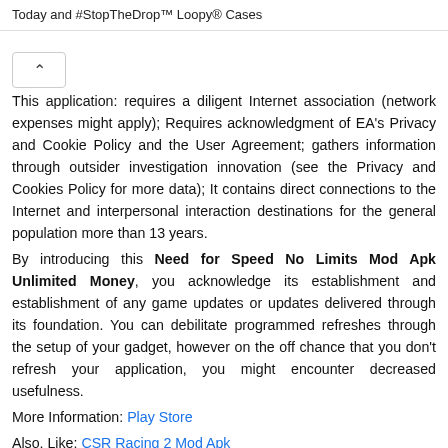Today and #StopTheDrop™ Loopy® Cases
This application: requires a diligent Internet association (network expenses might apply); Requires acknowledgment of EA's Privacy and Cookie Policy and the User Agreement; gathers information through outsider investigation innovation (see the Privacy and Cookies Policy for more data); It contains direct connections to the Internet and interpersonal interaction destinations for the general population more than 13 years.
By introducing this Need for Speed No Limits Mod Apk Unlimited Money, you acknowledge its establishment and establishment of any game updates or updates delivered through its foundation. You can debilitate programmed refreshes through the setup of your gadget, however on the off chance that you don't refresh your application, you might encounter decreased usefulness.
More Information: Play Store
Also, Like: CSR Racing 2 Mod Apk
Download, Need for Speed No Limits Mod Apk 6.2.0 Unlimited Money and Gold All Cars Unlocked 2022 Latest Version Free Download. Also, Find The Old Version of The Mod Apk For